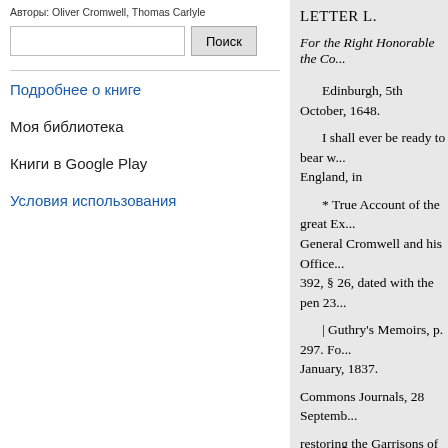Авторы: Oliver Cromwell, Thomas Carlyle
Поиск
Подробнее о книге
Моя библиотека
Книги в Google Play
Условия использования
LETTER L.
For the Right Honorable the Co...
Edinburgh, 5th October, 1648.
I shall ever be ready to bear w... England, in
* True Account of the great Ex... General Cromwell and his Office... 392, § 26, dated with the pen 23...
| Guthry's Memoirs, p. 297. Fo... January, 1837.
Commons Journals, 28 Septemb...
restoring the Garrisons of Berwi... to maintain amity and a good un... not to doubt but that your Lordsh...
I can assure your Lordships, T... Malignants in Scotland to break... the Kingdom of England the Tow... ors of those considerable Tow...